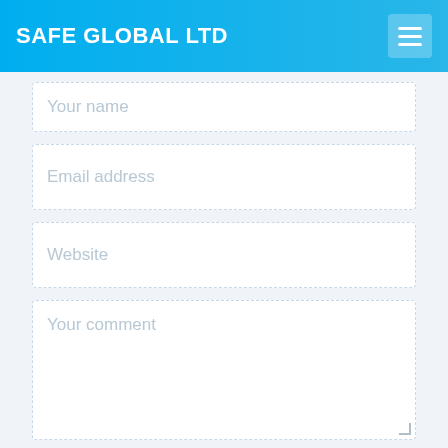SAFE GLOBAL LTD
Your name
Email address
Website
Your comment
Submit